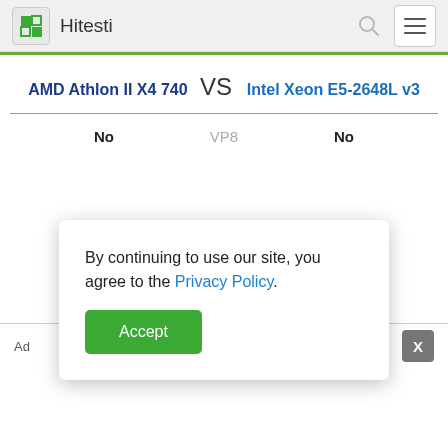Hitesti
AMD Athlon II X4 740 VS Intel Xeon E5-2648L v3
No   VP8   No
By continuing to use our site, you agree to the Privacy Policy.
Accept
Ad